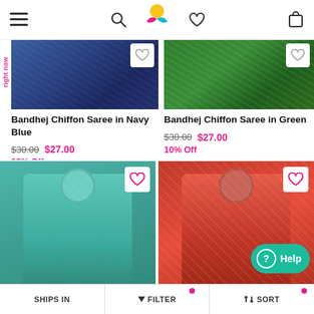Nav bar with menu, search, logo, wishlist, cart icons
[Figure (photo): Bandhej Chiffon Saree in Navy Blue product image (top, partially cropped)]
[Figure (photo): Bandhej Chiffon Saree in Green product image (top, partially cropped)]
Bandhej Chiffon Saree in Navy Blue
$30.00  $27.00
10% Off
Bandhej Chiffon Saree in Green
$30.00  $27.00
10% Off
[Figure (photo): Teal/green Bandhej Chiffon Saree product photo with model]
[Figure (photo): Red Bandhej Chiffon Saree product photo with model and Help button overlay]
SHIPS IN | FILTER | SORT